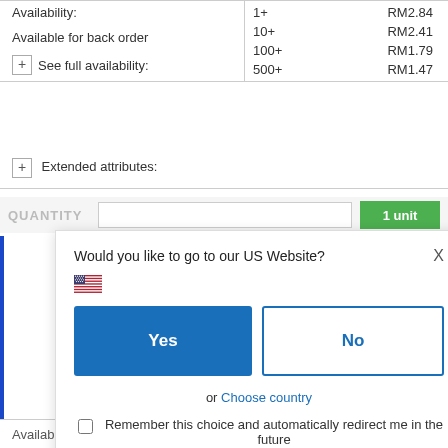|  | Quantity | Price |
| --- | --- | --- |
| Availability: | 1+ | RM2.84 |
| Available for back order | 10+ | RM2.41 |
| + See full availability: | 100+ | RM1.79 |
|  | 500+ | RM1.47 |
+ Extended attributes:
[Figure (screenshot): Modal dialog: Would you like to go to our US Website? with US flag icon, Yes and No buttons, or Choose country link, and Remember this choice checkbox]
|  | Quantity | Price |
| --- | --- | --- |
| Available for back order | 100+ | RM2.22 |